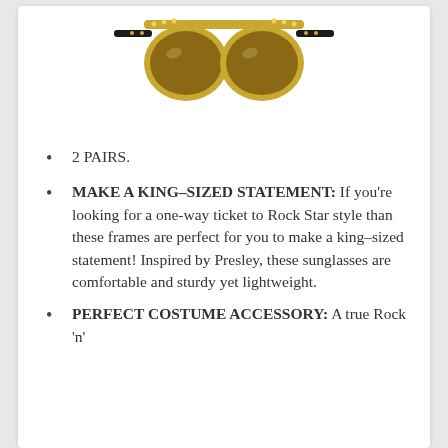[Figure (photo): Gold-framed aviator-style sunglasses with brown lenses and black temple tips, Elvis-style, shown from front-on angle against white background.]
2 PAIRS.
MAKE A KING-SIZED STATEMENT: If you’re looking for a one-way ticket to Rock Star style than these frames are perfect for you to make a king-sized statement! Inspired by Presley, these sunglasses are comfortable and sturdy yet lightweight.
PERFECT COSTUME ACCESSORY: A true Rock ‘n’